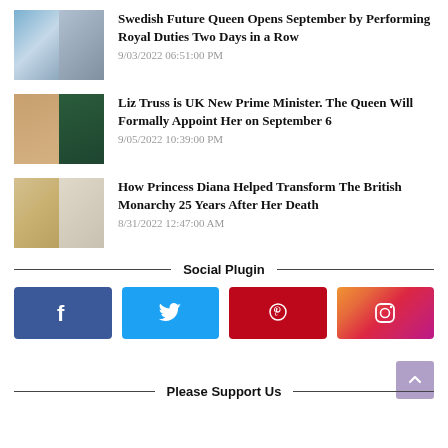Swedish Future Queen Opens September by Performing Royal Duties Two Days in a Row
9/03/2022 06:51:00 PM
Liz Truss is UK New Prime Minister. The Queen Will Formally Appoint Her on September 6
9/05/2022 10:39:00 PM
How Princess Diana Helped Transform The British Monarchy 25 Years After Her Death
8/31/2022 12:47:00 AM
Social Plugin
[Figure (other): Social media buttons: Facebook (dark blue), Twitter (light blue), Pinterest (red), Instagram (gradient pink-orange)]
Please Support Us